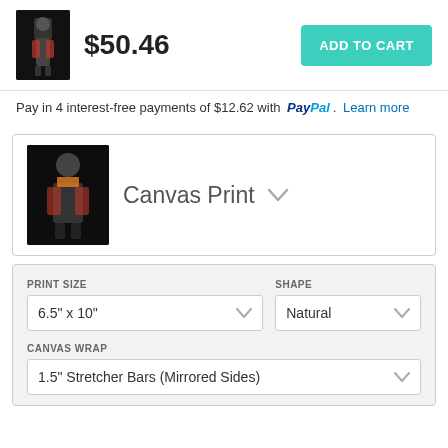[Figure (photo): Small product thumbnail of a basketball player on dark background]
$50.46
ADD TO CART
Pay in 4 interest-free payments of $12.62 with PayPal. Learn more
[Figure (photo): Canvas print thumbnail of a basketball player on dark background]
Canvas Print
PRINT SIZE
6.5" x 10"
SHAPE
Natural
CANVAS WRAP
1.5" Stretcher Bars (Mirrored Sides)